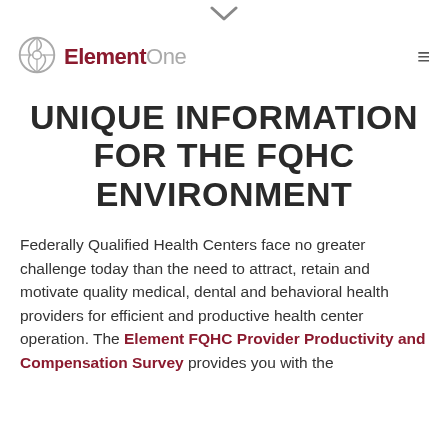ElementOne
UNIQUE INFORMATION FOR THE FQHC ENVIRONMENT
Federally Qualified Health Centers face no greater challenge today than the need to attract, retain and motivate quality medical, dental and behavioral health providers for efficient and productive health center operation. The Element FQHC Provider Productivity and Compensation Survey provides you with the